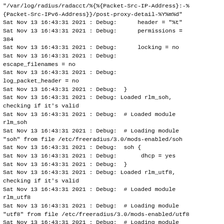"/var/log/radius/radacct/%{%{Packet-Src-IP-Address}:-%{Packet-Src-IPv6-Address}}/post-proxy-detail-%Y%m%d"
Sat Nov 13 16:43:31 2021 : Debug:      header = "%t"
Sat Nov 13 16:43:31 2021 : Debug:      permissions =
384
Sat Nov 13 16:43:31 2021 : Debug:      locking = no
Sat Nov 13 16:43:31 2021 : Debug:
escape_filenames = no
Sat Nov 13 16:43:31 2021 : Debug:
log_packet_header = no
Sat Nov 13 16:43:31 2021 : Debug:  }
Sat Nov 13 16:43:31 2021 : Debug: Loaded rlm_soh, checking if it's valid
Sat Nov 13 16:43:31 2021 : Debug:  # Loaded module rlm_soh
Sat Nov 13 16:43:31 2021 : Debug:  # Loading module "soh" from file /etc/freeradius/3.0/mods-enabled/soh
Sat Nov 13 16:43:31 2021 : Debug:  soh {
Sat Nov 13 16:43:31 2021 : Debug:       dhcp = yes
Sat Nov 13 16:43:31 2021 : Debug:  }
Sat Nov 13 16:43:31 2021 : Debug: Loaded rlm_utf8, checking if it's valid
Sat Nov 13 16:43:31 2021 : Debug:  # Loaded module rlm_utf8
Sat Nov 13 16:43:31 2021 : Debug:  # Loading module "utf8" from file /etc/freeradius/3.0/mods-enabled/utf8
Sat Nov 13 16:43:31 2021 : Debug:  # Loading module "echo" from file /etc/freeradius/3.0/mods-enabled/echo
Sat Nov 13 16:43:31 2021 : Debug:  exec echo {
Sat Nov 13 16:43:31 2021 : Debug:       wait = yes